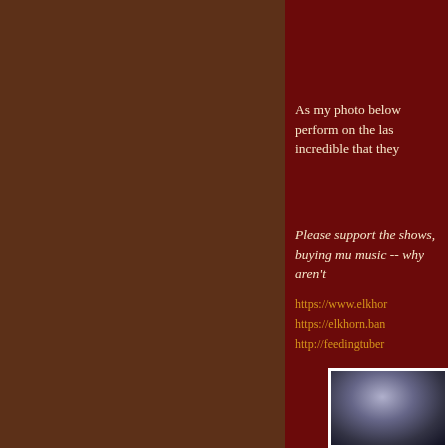As my photo below perform on the last incredible that they
Please support the shows, buying mu music -- why aren't
https://www.elkhor https://elkhorn.ban http://feedingtuber
[Figure (photo): Partial photo of a person, cropped at the bottom-right corner of the page, showing hair/head area against a dark background, framed with a white border.]